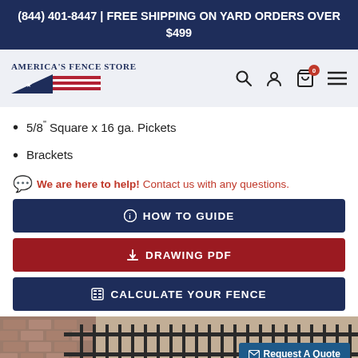(844) 401-8447 | FREE SHIPPING ON YARD ORDERS OVER $499
[Figure (logo): America's Fence Store logo with American flag graphic and navigation icons (search, user, cart, menu)]
5/8" Square x 16 ga. Pickets
Brackets
We are here to help! Contact us with any questions.
HOW TO GUIDE
DRAWING PDF
CALCULATE YOUR FENCE
[Figure (photo): Photo of ornamental fence installed on brick wall, with 'Request A Quote' button overlay]